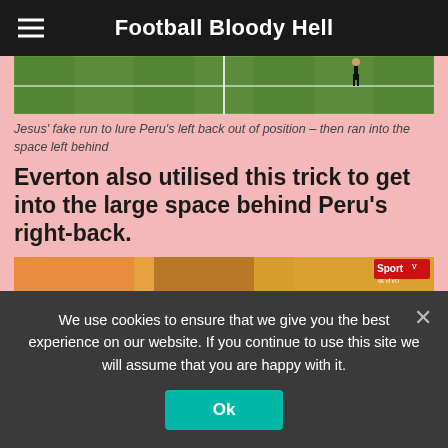Football Bloody Hell
[Figure (screenshot): Cropped screenshot of a football pitch from above, showing a player and grass markings with a referee visible.]
Jesus' fake run to lure Peru's left back out of position – then ran into the space left behind
Everton also utilised this trick to get into the large space behind Peru's right-back.
[Figure (screenshot): Screenshot of a football match broadcast showing BRA 1 vs 1 PER scoreline on Copa America, with tactical arrows showing SANDRO and EVERTON player movements using dashed arrows.]
We use cookies to ensure that we give you the best experience on our website. If you continue to use this site we will assume that you are happy with it.